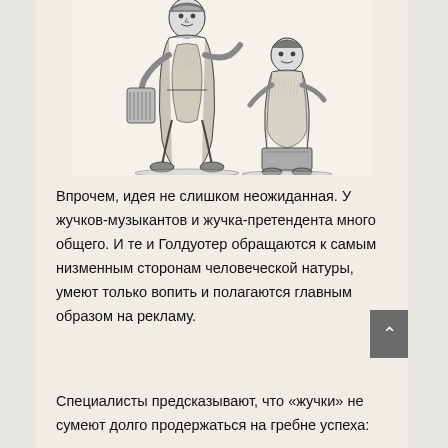[Figure (illustration): Black and white ink illustration showing two figures in traditional/folk costume, one appears to be playing a musical instrument, depicted in a sketchy crosshatch style]
Впрочем, идея не слишком неожиданная. У жучков-музыкантов и жучка-претендента много общего. И те и Голдуотер обращаются к самым низменным сторонам человеческой натуры, умеют только вопить и полагаются главным образом на рекламу.
Специалисты предсказывают, что «жучки» не сумеют долго продержаться на гребне успеха: